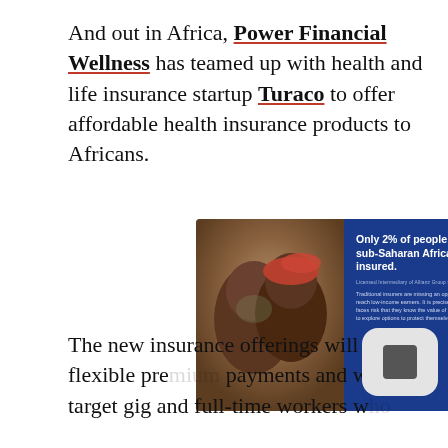And out in Africa, Power Financial Wellness has teamed up with health and life insurance startup Turaco to offer affordable health insurance products to Africans.
[Figure (photo): Turaco promotional card showing two smiling African people hugging on the left (photo), and on the right a blue panel with white text reading 'Only 2% of people living in sub-Saharan Africa are insured.' followed by smaller body text about traditional insurers missing opportunities.]
The new insurance offerings will have flexible pre... payments and will target gig and full-time workers who